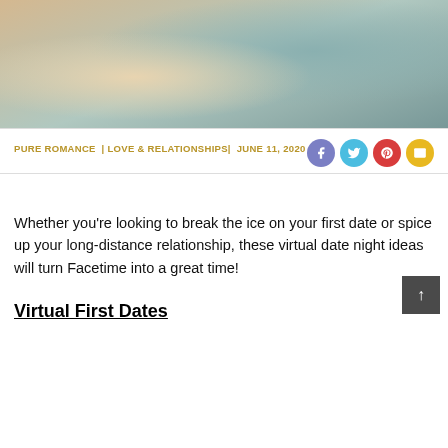[Figure (photo): Two people relaxing on a bed with a laptop, in warm tones]
PURE ROMANCE | LOVE & RELATIONSHIPS | JUNE 11, 2020
Whether you're looking to break the ice on your first date or spice up your long-distance relationship, these virtual date night ideas will turn Facetime into a great time!
Virtual First Dates